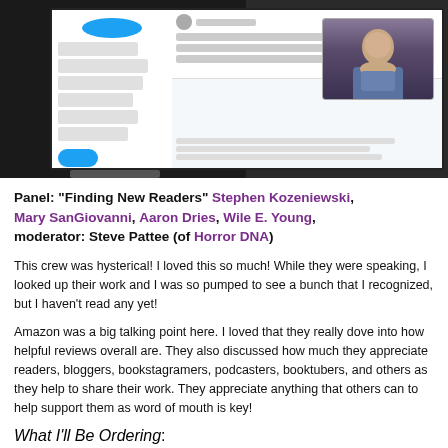[Figure (screenshot): Photo of a laptop/monitor showing a Twitter interface with a video embed of a man speaking, dark background surroundings]
Panel: “Finding New Readers” Stephen Kozeniewski, Mary SanGiovanni, Aaron Dries, Wile E. Young, moderator: Steve Pattee (of Horror DNA)
This crew was hysterical! I loved this so much! While they were speaking, I looked up their work and I was so pumped to see a bunch that I recognized, but I haven’t read any yet!
Amazon was a big talking point here. I loved that they really dove into how helpful reviews overall are. They also discussed how much they appreciate readers, bloggers, bookstagramers, podcasters, booktubers, and others as they help to share their work. They appreciate anything that others can to help support them as word of mouth is key!
What I’ll Be Ordering: